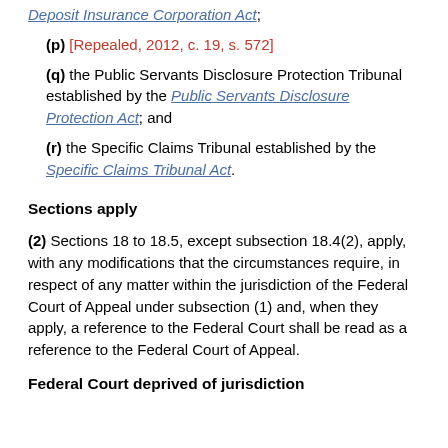Deposit Insurance Corporation Act;
(p) [Repealed, 2012, c. 19, s. 572]
(q) the Public Servants Disclosure Protection Tribunal established by the Public Servants Disclosure Protection Act; and
(r) the Specific Claims Tribunal established by the Specific Claims Tribunal Act.
Sections apply
(2) Sections 18 to 18.5, except subsection 18.4(2), apply, with any modifications that the circumstances require, in respect of any matter within the jurisdiction of the Federal Court of Appeal under subsection (1) and, when they apply, a reference to the Federal Court shall be read as a reference to the Federal Court of Appeal.
Federal Court deprived of jurisdiction